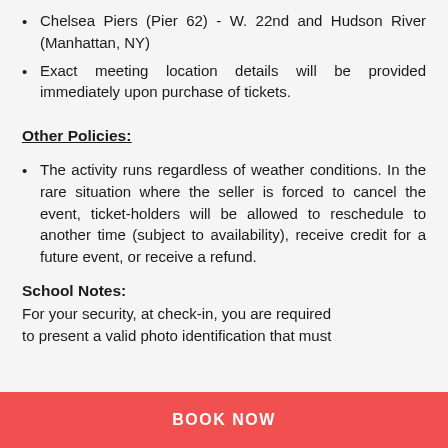Chelsea Piers (Pier 62) - W. 22nd and Hudson River (Manhattan, NY)
Exact meeting location details will be provided immediately upon purchase of tickets.
Other Policies:
The activity runs regardless of weather conditions. In the rare situation where the seller is forced to cancel the event, ticket-holders will be allowed to reschedule to another time (subject to availability), receive credit for a future event, or receive a refund.
School Notes:
For your security, at check-in, you are required to present a valid photo identification that must
BOOK NOW